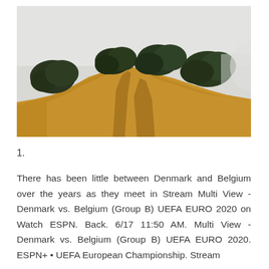[Figure (photo): A landscape photo showing a dry golden-brown hill with dark green trees (shrubs/bushes) along the ridgeline against a pale grey-white sky.]
1.
There has been little between Denmark and Belgium over the years as they meet in Stream Multi View - Denmark vs. Belgium (Group B) UEFA EURO 2020 on Watch ESPN. Back. 6/17 11:50 AM. Multi View - Denmark vs. Belgium (Group B) UEFA EURO 2020. ESPN+ • UEFA European Championship. Stream